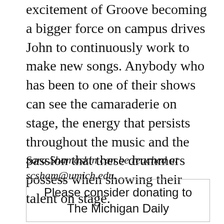excitement of Groove becoming a bigger force on campus drives John to continuously work to make new songs. Anybody who has been to one of their shows can see the camaraderie on stage, the energy that persists throughout the music and the passion that these drummers possess when showing their talent on stage.
Sara Shamaskin can be reached at scsham@umich.edu.
Please consider donating to The Michigan Daily